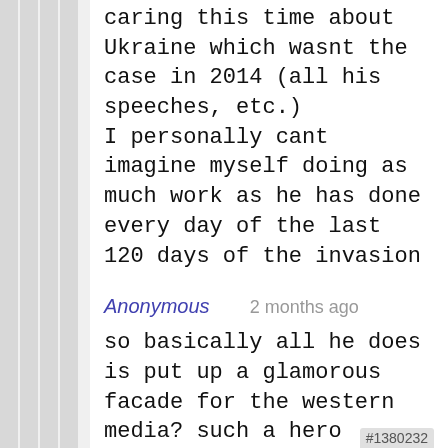caring this time about Ukraine which wasnt the case in 2014 (all his speeches, etc.) I personally cant imagine myself doing as much work as he has done every day of the last 120 days of the invasion
Anonymous   2 months ago
so basically all he does is put up a glamorous facade for the western media? such a hero
#1380232